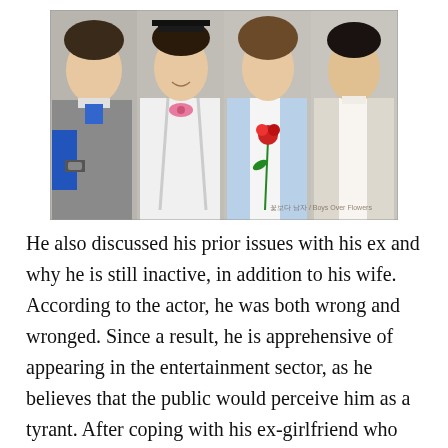[Figure (photo): Group photo of four young Korean male actors/celebrities posed side by side against a light gray background. From left to right: first man in gray sweater with blue accents and a watch; second man in white shirt with pink bow tie and hat; third man in light blue suit holding a red rose; fourth man in cream/beige blazer.]
He also discussed his prior issues with his ex and why he is still inactive, in addition to his wife. According to the actor, he was both wrong and wronged. Since a result, he is apprehensive of appearing in the entertainment sector, as he believes that the public would perceive him as a tyrant. After coping with his ex-girlfriend who accused him of domestic abuse, Kim Hyun Joong married his